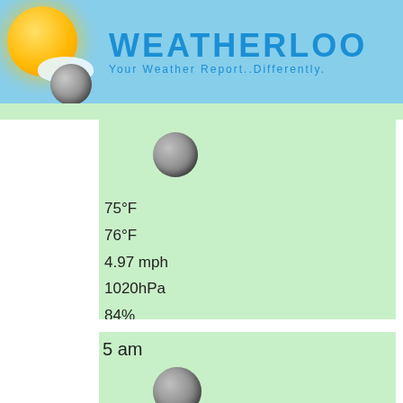WEATHERLOO
Your Weather Report..Differently.
75°F
76°F
4.97 mph
1020hPa
84%
5 am
74°F
75°F
4.74 mph
1020hPa